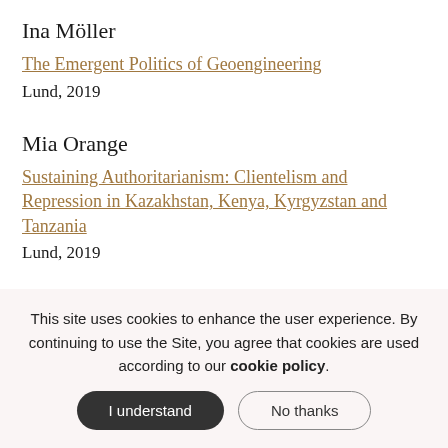Ina Möller
The Emergent Politics of Geoengineering
Lund, 2019
Mia Orange
Sustaining Authoritarianism: Clientelism and Repression in Kazakhstan, Kenya, Kyrgyzstan and Tanzania
Lund, 2019
Björn Östbring
This site uses cookies to enhance the user experience. By continuing to use the Site, you agree that cookies are used according to our cookie policy.
I understand
No thanks